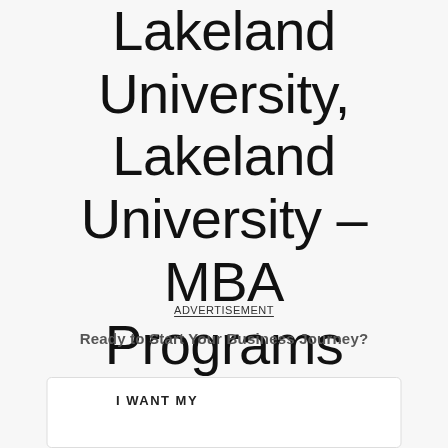Lakeland University, Lakeland University – MBA Programs
ADVERTISEMENT
Ready to Start Your Business Journey?
I WANT MY